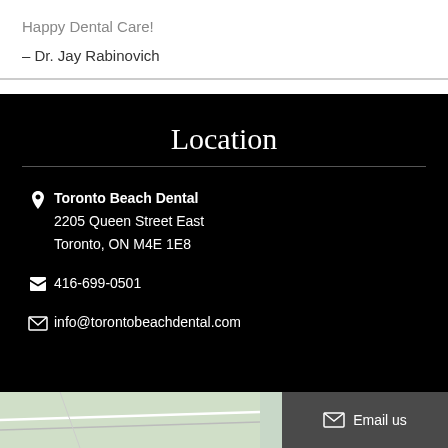Happy Dental Care!
– Dr. Jay Rabinovich
Location
Toronto Beach Dental
2205 Queen Street East
Toronto, ON M4E 1E8
416-699-0501
info@torontobeachdental.com
[Figure (map): Street map snippet showing area near Toronto Beach Dental with roads including Williamson Rd visible, and an Email us chat button overlay]